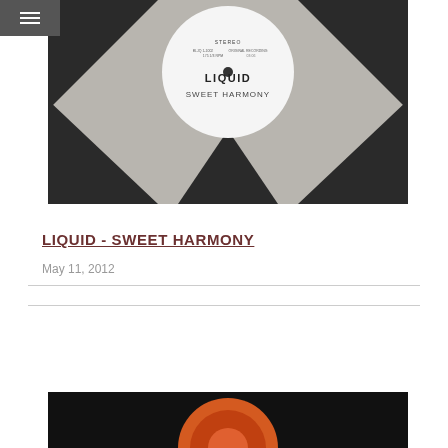[Figure (photo): Vinyl record with grey and black geometric pattern sleeve. White label in center reads LIQUID SWEET HARMONY with STEREO text at top.]
LIQUID - SWEET HARMONY
May 11, 2012
[Figure (photo): Bottom portion of an orange/red vinyl record on black background, partially visible at bottom of page.]